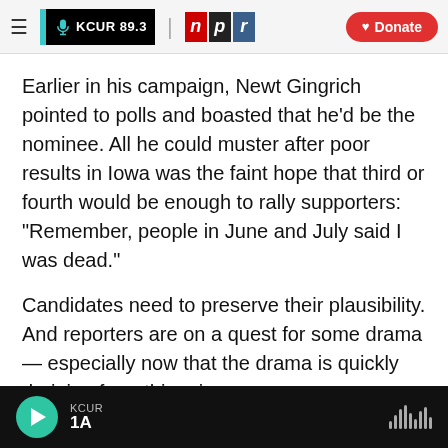KCUR 89.3 | npr | Donate
Earlier in his campaign, Newt Gingrich pointed to polls and boasted that he'd be the nominee. All he could muster after poor results in Iowa was the faint hope that third or fourth would be enough to rally supporters: "Remember, people in June and July said I was dead."
Candidates need to preserve their plausibility. And reporters are on a quest for some drama — especially now that the drama is quickly draining from this primary season.
KCUR 1A